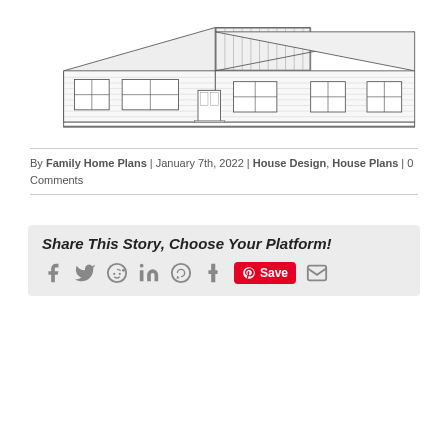[Figure (illustration): Line drawing / architectural elevation of a single-story ranch-style house with multiple gabled rooflines, horizontal siding, several double-hung windows, and a central front door.]
By Family Home Plans | January 7th, 2022 | House Design, House Plans | 0 Comments
Share This Story, Choose Your Platform!
[Figure (infographic): Social sharing icons: Facebook, Twitter, Reddit, LinkedIn, WhatsApp, Tumblr, Pinterest (Save button), Email]